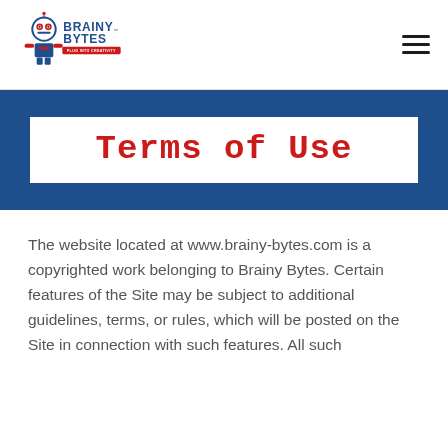Brainy Bytes — PLUG INTO CREATIVITY (logo) | hamburger menu
Terms of Use
The website located at www.brainy-bytes.com is a copyrighted work belonging to Brainy Bytes. Certain features of the Site may be subject to additional guidelines, terms, or rules, which will be posted on the Site in connection with such features. All such